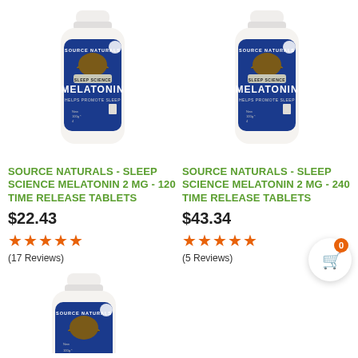[Figure (photo): Source Naturals Sleep Science Melatonin supplement bottle, white cap, blue label]
SOURCE NATURALS - SLEEP SCIENCE MELATONIN 2 MG - 120 TIME RELEASE TABLETS
$22.43
★★★★☆ (17 Reviews)
[Figure (photo): Source Naturals Sleep Science Melatonin supplement bottle, white cap, blue label]
SOURCE NATURALS - SLEEP SCIENCE MELATONIN 2 MG - 240 TIME RELEASE TABLETS
$43.34
★★★★☆ (5 Reviews)
[Figure (photo): Source Naturals Sleep Science Melatonin supplement bottle, partially visible, white cap, blue label]